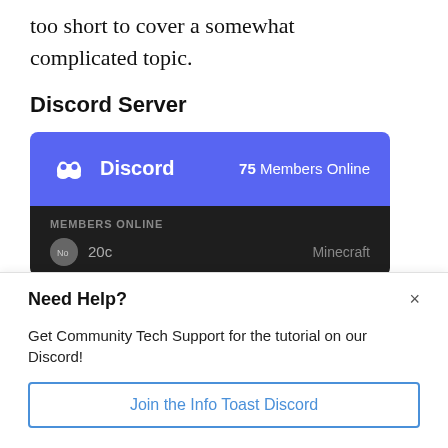too short to cover a somewhat complicated topic.
Discord Server
[Figure (screenshot): Discord widget showing 75 Members Online with a blue header area containing the Discord logo and text, and a dark bottom area showing MEMBERS ONLINE label with a member row showing '20c' username and 'Minecraft' game activity.]
Need Help?
Get Community Tech Support for the tutorial on our Discord!
Join the Info Toast Discord